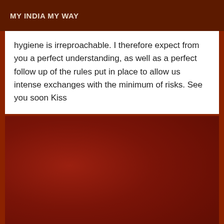MY INDIA MY WAY
hygiene is irreproachable. I therefore expect from you a perfect understanding, as well as a perfect follow up of the rules put in place to allow us intense exchanges with the minimum of risks. See you soon Kiss
[Figure (photo): A large deep red/maroon textured background area filling the lower portion of the page.]